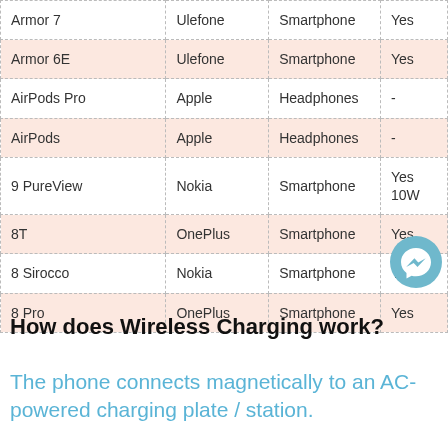| Armor 7 | Ulefone | Smartphone | Yes |
| Armor 6E | Ulefone | Smartphone | Yes |
| AirPods Pro | Apple | Headphones | - |
| AirPods | Apple | Headphones | - |
| 9 PureView | Nokia | Smartphone | Yes 10W |
| 8T | OnePlus | Smartphone | Yes |
| 8 Sirocco | Nokia | Smartphone | Yes |
| 8 Pro | OnePlus | Smartphone | Yes |
How does Wireless Charging work?
The phone connects magnetically to an AC-powered charging plate / station.